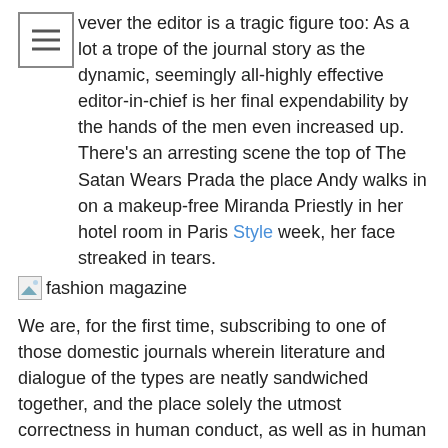however the editor is a tragic figure too: As a lot a trope of the journal story as the dynamic, seemingly all-highly effective editor-in-chief is her final expendability by the hands of the men even increased up. There's an arresting scene the top of The Satan Wears Prada the place Andy walks in on a makeup-free Miranda Priestly in her hotel room in Paris Style week, her face streaked in tears.
[Figure (other): Broken image placeholder with text 'fashion magazine']
We are, for the first time, subscribing to one of those domestic journals wherein literature and dialogue of the types are neatly sandwiched together, and the place solely the utmost correctness in human conduct, as well as in human costume, is admitted.
We've got a formidable assortment of style magazines and wonder magazines to place at your fingertips - subscribe right now to one of our magnificence or vogue magazine subscriptions to supply style suggestions, discover inspiration from celebrity tendencies and preserve your finger on the ever-evolving pulse of the world of